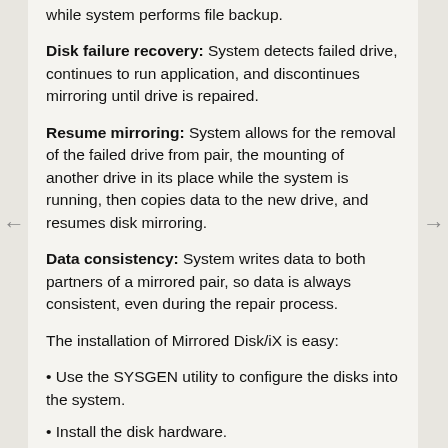while system performs file backup.
Disk failure recovery: System detects failed drive, continues to run application, and discontinues mirroring until drive is repaired.
Resume mirroring: System allows for the removal of the failed drive from pair, the mounting of another drive in its place while the system is running, then copies data to the new drive, and resumes disk mirroring.
Data consistency: System writes data to both partners of a mirrored pair, so data is always consistent, even during the repair process.
The installation of Mirrored Disk/iX is easy:
Use the SYSGEN utility to configure the disks into the system.
Install the disk hardware.
Boot the system with the new configuration.
Use the AUTOINST utility to install the mirrored disk software.